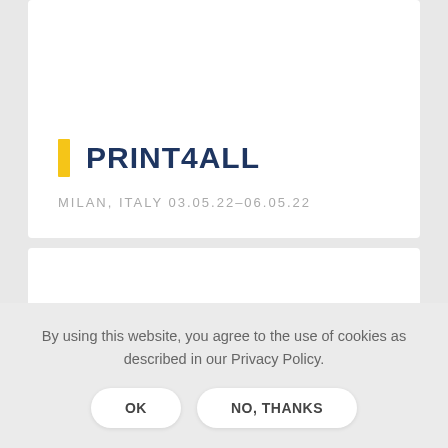PRINT4ALL
MILAN,  ITALY 03.05.22–06.05.22
By using this website, you agree to the use of cookies as described in our Privacy Policy.
OK
NO, THANKS